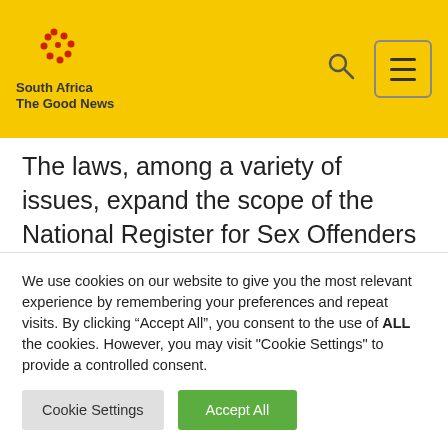[Figure (logo): South Africa The Good News logo with yellow background, red dot pattern, and bold text reading 'South Africa The Good News']
The laws, among a variety of issues, expand the scope of the National Register for Sex Offenders (NRSO) to include the particulars of all sex offenders and not only sex offenders against children and people who are mentally disabled. They also increase the time that a sex offender's
We use cookies on our website to give you the most relevant experience by remembering your preferences and repeat visits. By clicking “Accept All”, you consent to the use of ALL the cookies. However, you may visit "Cookie Settings" to provide a controlled consent.